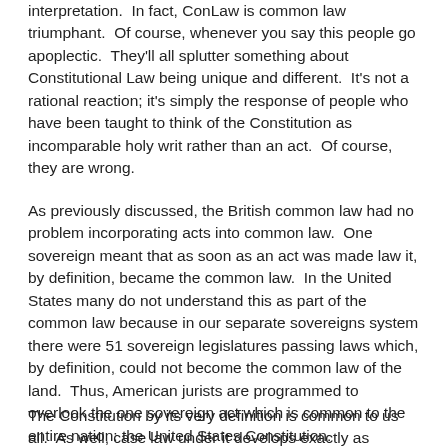interpretation.  In fact, ConLaw is common law triumphant.  Of course, whenever you say this people go apoplectic.  They'll all splutter something about Constitutional Law being unique and different.  It's not a rational reaction; it's simply the response of people who have been taught to think of the Constitution as incomparable holy writ rather than an act.  Of course, they are wrong.
As previously discussed, the British common law had no problem incorporating acts into common law.  One sovereign meant that as soon as an act was made law it, by definition, became the common law.  In the United States many do not understand this as part of the common law because in our separate sovereigns system there were 51 sovereign legislatures passing laws which, by definition, could not become the common law of the land.  Thus, American jurists are programmed to overlook the one sovereign act which is common to the entire nation: the United States Constitution.
The Constitution by its very definition is common to us all.  As well, case law under it develops exactly as common law is supposed to.  Issues are addressed by lower courts either